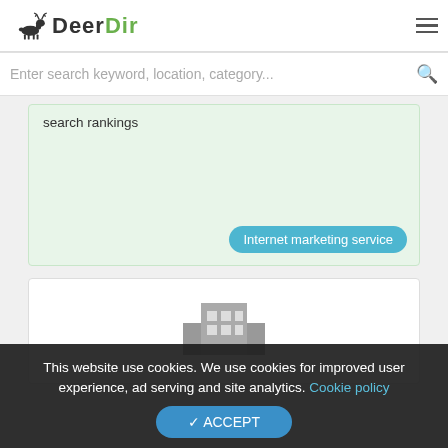DeerDir
Enter search keyword, location, category...
search rankings
Internet marketing service
[Figure (illustration): Generic building/business icon in grey]
This website use cookies. We use cookies for improved user experience, ad serving and site analytics. Cookie policy
✔ ACCEPT